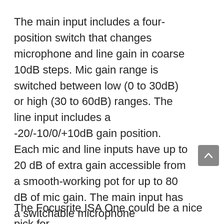The main input includes a four-position switch that changes microphone and line gain in coarse 10dB steps. Mic gain range is switched between low (0 to 30dB) or high (30 to 60dB) ranges. The line input includes a -20/-10/0/+10dB gain position. Each mic and line inputs have up to 20 dB of extra gain accessible from a smooth-working pot for up to 80 dB of mic gain. The main input has a switchable microphone impedance (600/1.4k/2.4k/6.8k ohm). Also, it has a 48-volt phantom power, phase (polarity) flip, and switchable 75 Hz, 18 dB/octave highpass filter. Not to forget, an insert in/out jack for connecting an outboard processor.
The Focusrite ISA One could be a nice pick for